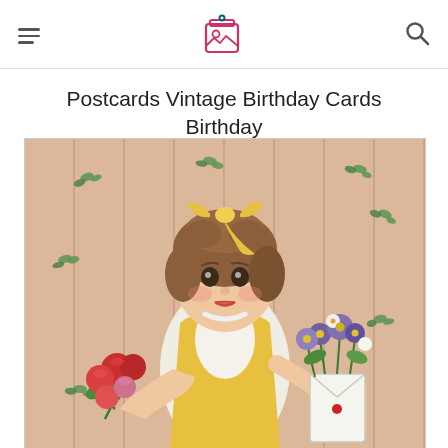Postcards Vintage Birthday Cards Birthday Postcards Vintage Birthday
[Figure (illustration): Vintage birthday postcard illustration showing a young girl with brown hair wearing a yellow bow and yellow apron over a white dress. She holds bouquets of red roses in her left hand and a white vase with mixed flowers in her right hand. The background is a peach/salmon colored paneled wall decorated with scattered small floral sprigs.]